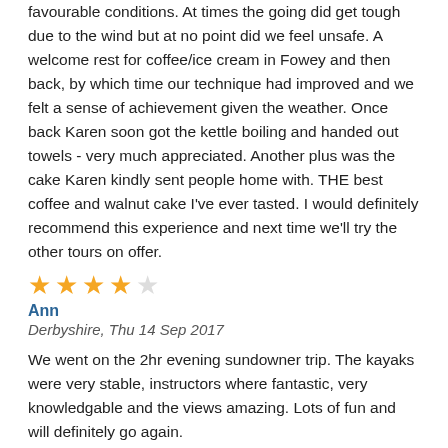favourable conditions. At times the going did get tough due to the wind but at no point did we feel unsafe. A welcome rest for coffee/ice cream in Fowey and then back, by which time our technique had improved and we felt a sense of achievement given the weather. Once back Karen soon got the kettle boiling and handed out towels - very much appreciated. Another plus was the cake Karen kindly sent people home with. THE best coffee and walnut cake I've ever tasted. I would definitely recommend this experience and next time we'll try the other tours on offer.
★★★★☆
Ann
Derbyshire, Thu 14 Sep 2017
We went on the 2hr evening sundowner trip. The kayaks were very stable, instructors where fantastic, very knowledgable and the views amazing. Lots of fun and will definitely go again.
★★★★★